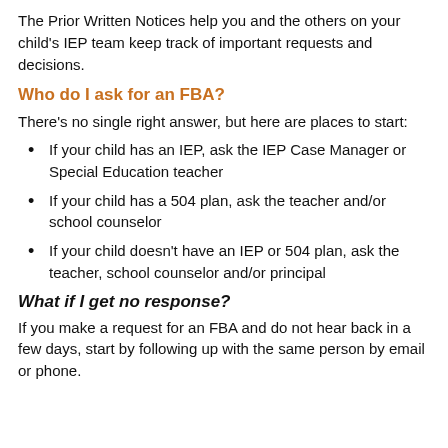The Prior Written Notices help you and the others on your child's IEP team keep track of important requests and decisions.
Who do I ask for an FBA?
There's no single right answer, but here are places to start:
If your child has an IEP, ask the IEP Case Manager or Special Education teacher
If your child has a 504 plan, ask the teacher and/or school counselor
If your child doesn't have an IEP or 504 plan, ask the teacher, school counselor and/or principal
What if I get no response?
If you make a request for an FBA and do not hear back in a few days, start by following up with the same person by email or phone.